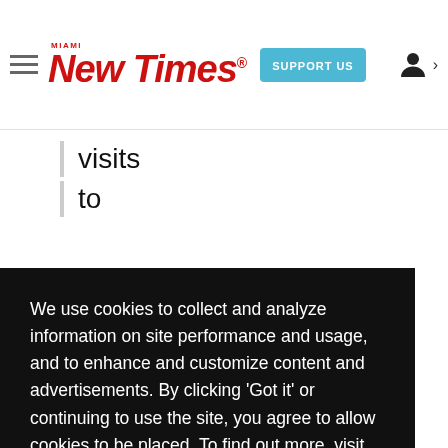Miami New Times — SUPPORT US
visits
to
We use cookies to collect and analyze information on site performance and usage, and to enhance and customize content and advertisements. By clicking 'Got it' or continuing to use the site, you agree to allow cookies to be placed. To find out more, visit our cookies policy and our privacy policy.
Got it!
was